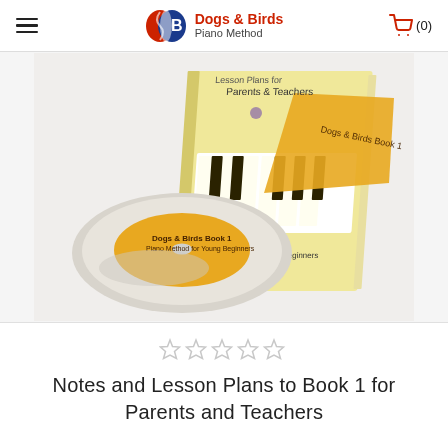Dogs & Birds Piano Method
[Figure (photo): Product photo showing a book titled 'Notes and Lesson Plans for Parents & Teachers - Piano Method for Young Beginners' alongside a CD disc labeled 'Dogs & Birds Book 1 Piano Method for Young Beginners']
[Figure (other): Five star rating icons (empty/grey stars)]
Notes and Lesson Plans to Book 1 for Parents and Teachers